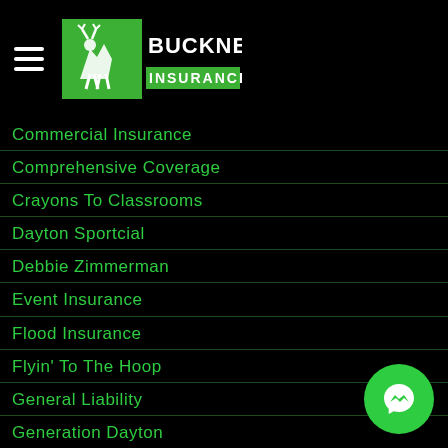[Figure (logo): Buckner Insurance logo with green background and goat/deer figure]
Commercial Insurance
Comprehensive Coverage
Crayons To Classrooms
Dayton Sportcial
Debbie Zimmerman
Event Insurance
Flood Insurance
Flyin' To The Hoop
General Liability
Generation Dayton
Grange Insurance
Greg Niehaus
Halloween Candy Drive
Health Insurance
Home Insurance
Independent Insurance